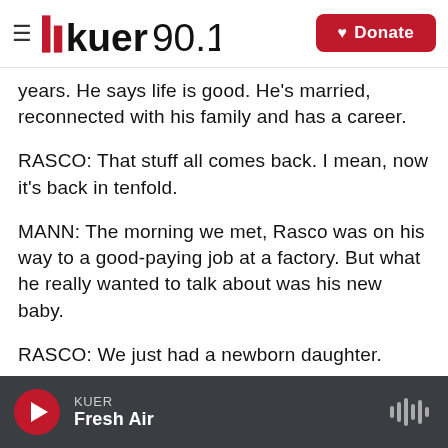KUER 90.1 — Donate
years. He says life is good. He's married, reconnected with his family and has a career.
RASCO: That stuff all comes back. I mean, now it's back in tenfold.
MANN: The morning we met, Rasco was on his way to a good-paying job at a factory. But what he really wanted to talk about was his new baby.
RASCO: We just had a newborn daughter.
MANN: Congratulations. That's wonderful
KUER — Fresh Air